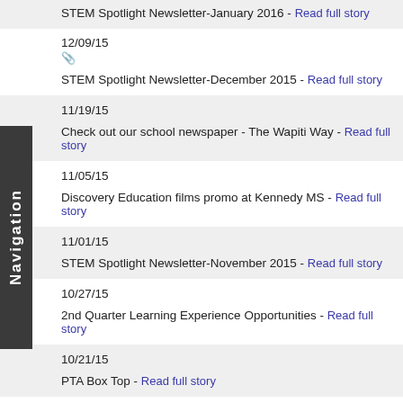STEM Spotlight Newsletter-January 2016 - Read full story
12/09/15
STEM Spotlight Newsletter-December 2015 - Read full story
11/19/15
Check out our school newspaper - The Wapiti Way - Read full story
11/05/15
Discovery Education films promo at Kennedy MS - Read full story
11/01/15
STEM Spotlight Newsletter-November 2015 - Read full story
10/27/15
2nd Quarter Learning Experience Opportunities - Read full story
10/21/15
PTA Box Top - Read full story